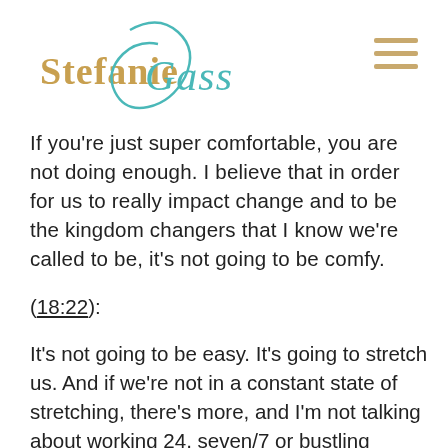Stefanie Gass
If you're just super comfortable, you are not doing enough. I believe that in order for us to really impact change and to be the kingdom changers that I know we're called to be, it's not going to be comfy.
(18:22):
It's not going to be easy. It's going to stretch us. And if we're not in a constant state of stretching, there's more, and I'm not talking about working 24, seven/7 or bustling harder. I'm talking about doing it in